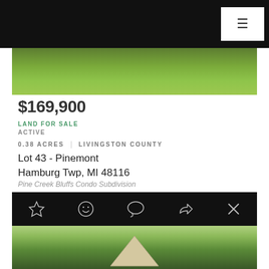[Figure (photo): Aerial or ground-level photo of green leafy vegetation/shrubs on a property]
$169,900
LAND FOR SALE
ACTIVE
0.38 ACRES | LIVINGSTON COUNTY
Lot 43 - Pinemont
Hamburg Twp, MI 48116
Pine Creek Bluffs Condo Subdivision
[Figure (photo): Photo of a building or structure with a triangular roof peak visible among trees]